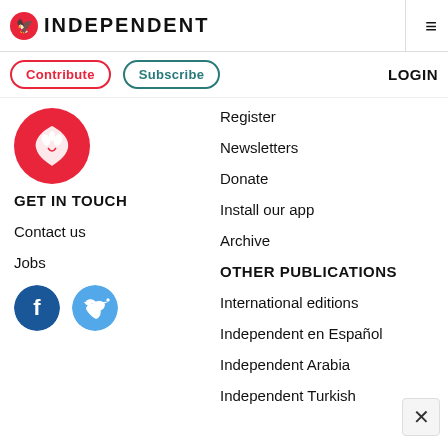INDEPENDENT
Contribute
Subscribe
LOGIN
[Figure (logo): The Independent eagle logo in red circle]
GET IN TOUCH
Contact us
Jobs
[Figure (illustration): Facebook and Twitter social media icon circles]
Register
Newsletters
Donate
Install our app
Archive
OTHER PUBLICATIONS
International editions
Independent en Español
Independent Arabia
Independent Turkish